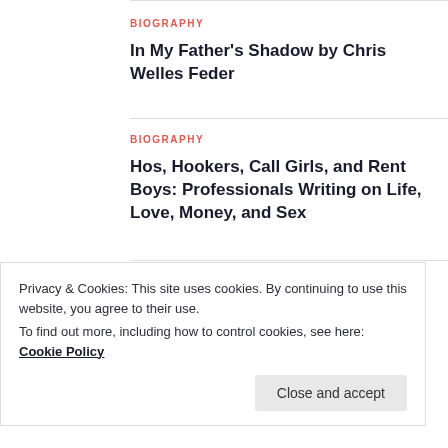BIOGRAPHY
In My Father's Shadow by Chris Welles Feder
BIOGRAPHY
Hos, Hookers, Call Girls, and Rent Boys: Professionals Writing on Life, Love, Money, and Sex
BIOGRAPHY
Abraham Lincoln: A Life by Michael Burlingame
Privacy & Cookies: This site uses cookies. By continuing to use this website, you agree to their use.
To find out more, including how to control cookies, see here: Cookie Policy
Close and accept